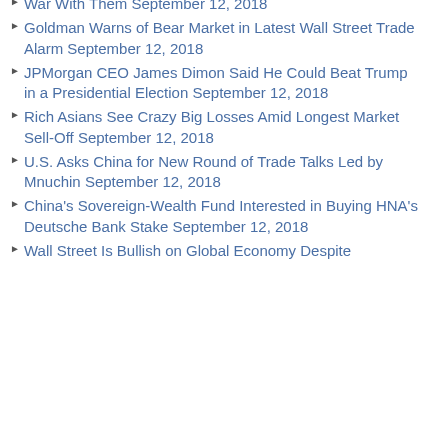War With Them September 12, 2018
Goldman Warns of Bear Market in Latest Wall Street Trade Alarm September 12, 2018
JPMorgan CEO James Dimon Said He Could Beat Trump in a Presidential Election September 12, 2018
Rich Asians See Crazy Big Losses Amid Longest Market Sell-Off September 12, 2018
U.S. Asks China for New Round of Trade Talks Led by Mnuchin September 12, 2018
China's Sovereign-Wealth Fund Interested in Buying HNA's Deutsche Bank Stake September 12, 2018
Wall Street Is Bullish on Global Economy Despite